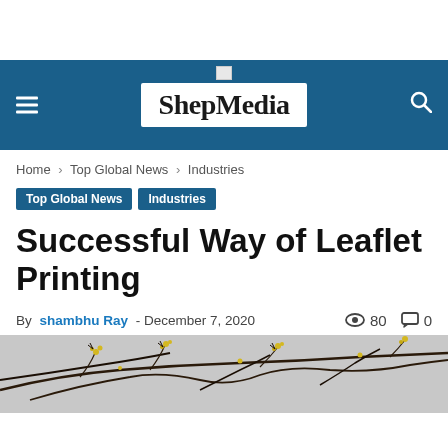ShepMedia
Home › Top Global News › Industries
Top Global News   Industries
Successful Way of Leaflet Printing
By shambhu Ray - December 7, 2020   👁 80   💬 0
[Figure (photo): Close-up photo of bare dark branches with small yellow flowers against a grey sky background]